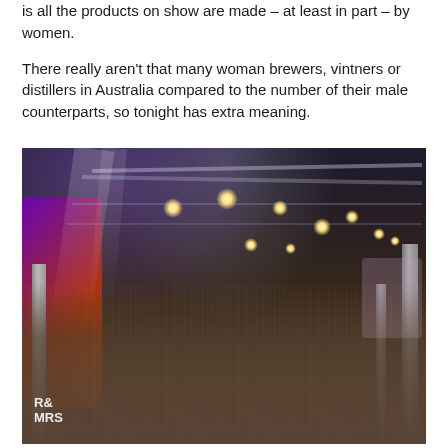is all the products on show are made – at least in part – by women.
There really aren't that many woman brewers, vintners or distillers in Australia compared to the number of their male counterparts, so tonight has extra meaning.
[Figure (photo): Interior of a large industrial hall or exhibition space crowded with people. The ceiling has exposed steel trusses and hanging lights. On the left side there are colorful purple, orange and red banners/decorations. The crowd fills the floor of the venue. Bottom left corner shows text 'R& MRS'.]